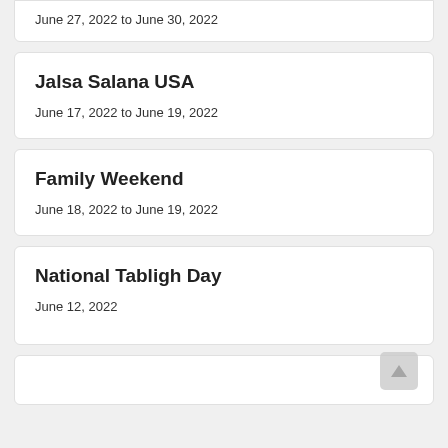June 27, 2022 to June 30, 2022
Jalsa Salana USA
June 17, 2022 to June 19, 2022
Family Weekend
June 18, 2022 to June 19, 2022
National Tabligh Day
June 12, 2022